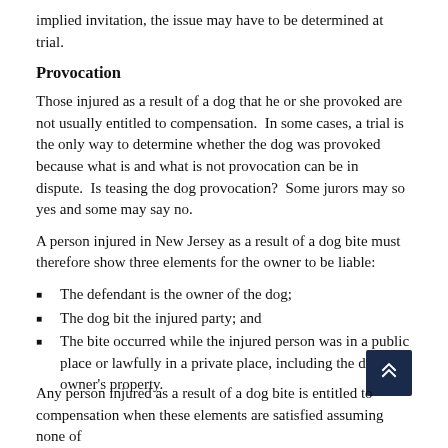implied invitation, the issue may have to be determined at trial.
Provocation
Those injured as a result of a dog that he or she provoked are not usually entitled to compensation.  In some cases, a trial is the only way to determine whether the dog was provoked because what is and what is not provocation can be in dispute.  Is teasing the dog provocation?  Some jurors may so yes and some may say no.
A person injured in New Jersey as a result of a dog bite must therefore show three elements for the owner to be liable:
The defendant is the owner of the dog;
The dog bit the injured party; and
The bite occurred while the injured person was in a public place or lawfully in a private place, including the dog owner's property.
Any person injured as a result of a dog bite is entitled to compensation when these elements are satisfied assuming none of